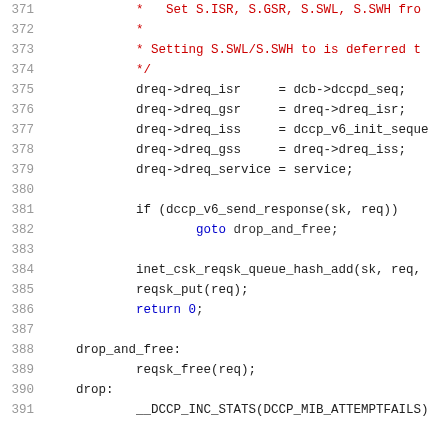Code listing lines 371-391, C source code showing DCCP IPv6 socket handling
371: * Set S.ISR, S.GSR, S.SWL, S.SWH fro
372: *
373: * Setting S.SWL/S.SWH to is deferred t
374: */
375: dreq->dreq_isr = dcb->dccpd_seq;
376: dreq->dreq_gsr = dreq->dreq_isr;
377: dreq->dreq_iss = dccp_v6_init_seque
378: dreq->dreq_gss = dreq->dreq_iss;
379: dreq->dreq_service = service;
380:
381: if (dccp_v6_send_response(sk, req))
382: goto drop_and_free;
383:
384: inet_csk_reqsk_queue_hash_add(sk, req,
385: reqsk_put(req);
386: return 0;
387:
388: drop_and_free:
389: reqsk_free(req);
390: drop:
391: __DCCP_INC_STATS(DCCP_MIB_ATTEMPTFAILS)